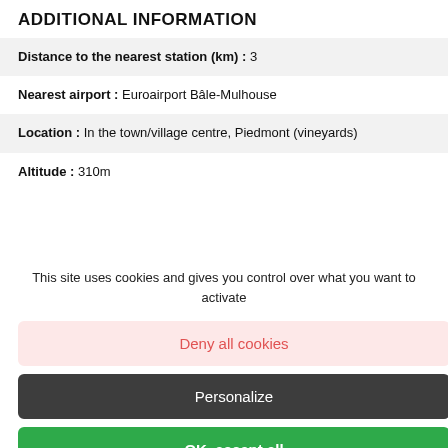ADDITIONAL INFORMATION
Distance to the nearest station (km) : 3
Nearest airport : Euroairport Bâle-Mulhouse
Location : In the town/village centre, Piedmont (vineyards)
Altitude : 310m
This site uses cookies and gives you control over what you want to activate
Deny all cookies
Personalize
OK, accept all